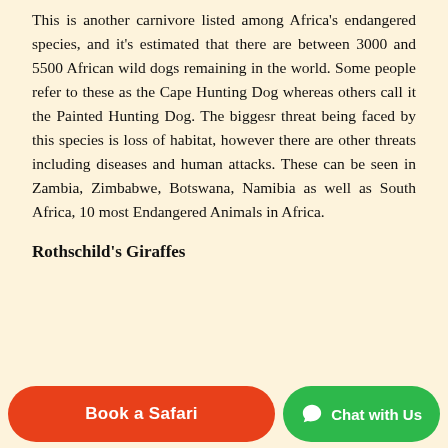This is another carnivore listed among Africa's endangered species, and it's estimated that there are between 3000 and 5500 African wild dogs remaining in the world. Some people refer to these as the Cape Hunting Dog whereas others call it the Painted Hunting Dog. The biggesr threat being faced by this species is loss of habitat, however there are other threats including diseases and human attacks. These can be seen in Zambia, Zimbabwe, Botswana, Namibia as well as South Africa, 10 most Endangered Animals in Africa.
Rothschild's Giraffes